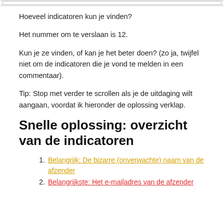Hoeveel indicatoren kun je vinden?
Het nummer om te verslaan is 12.
Kun je ze vinden, of kan je het beter doen? (zo ja, twijfel niet om de indicatoren die je vond te melden in een commentaar).
Tip: Stop met verder te scrollen als je de uitdaging wilt aangaan, voordat ik hieronder de oplossing verklap.
Snelle oplossing: overzicht van de indicatoren
Belangrijk: De bizarre (onverwachte) naam van de afzender
Belangrijkste: Het e-mailadres van de afzender